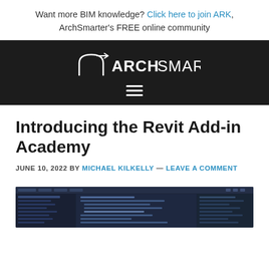Want more BIM knowledge? Click here to join ARK, ArchSmarter's FREE online community
[Figure (logo): ArchSmarter logo — white text on dark background with geometric arch icon]
Introducing the Revit Add-in Academy
JUNE 10, 2022 BY MICHAEL KILKELLY — LEAVE A COMMENT
[Figure (screenshot): Screenshot of a dark-themed Revit add-in development environment or UI]